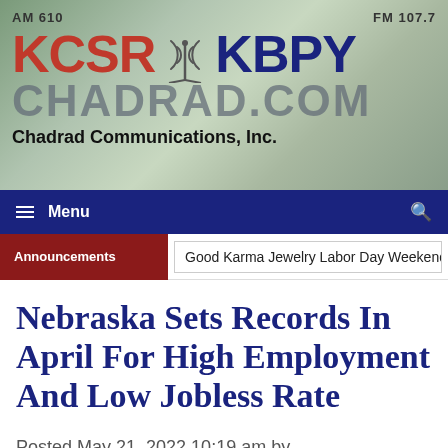[Figure (logo): KCSR AM 610 and KBPY FM 107.7 radio station logo with CHADRAD.COM text and antenna graphic, Chadrad Communications Inc, on a scenic outdoor background]
Menu
Announcements | Good Karma Jewelry Labor Day Weekend
Nebraska Sets Records In April For High Employment And Low Jobless Rate
Posted May 21, 2022 10:19 am by